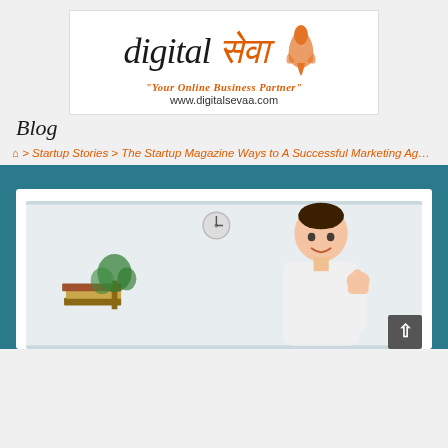[Figure (logo): Digital Seva logo with Hindi text and praying hands icon, tagline 'Your Online Business Partner' and URL www.digitalsevaa.com]
Blog
🏠 > Startup Stories > The Startup Magazine Ways to A Successful Marketing Agency R
[Figure (photo): Young man in white t-shirt giving thumbs up in an office/home setting with books, plant, and wall clock visible]